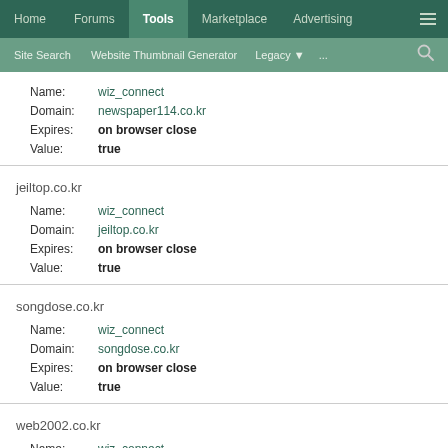Home | Forums | Tools | Marketplace | Advertising | ≡
Site Search | Website Thumbnail Generator | Legacy | ...
Name: wiz_connect
Domain: newspaper114.co.kr
Expires: on browser close
Value: true
jeiltop.co.kr
Name: wiz_connect
Domain: jeiltop.co.kr
Expires: on browser close
Value: true
songdose.co.kr
Name: wiz_connect
Domain: songdose.co.kr
Expires: on browser close
Value: true
web2002.co.kr
Name: wiz_connect
Domain: web2002.co.kr
Expires: on browser close
Value: true